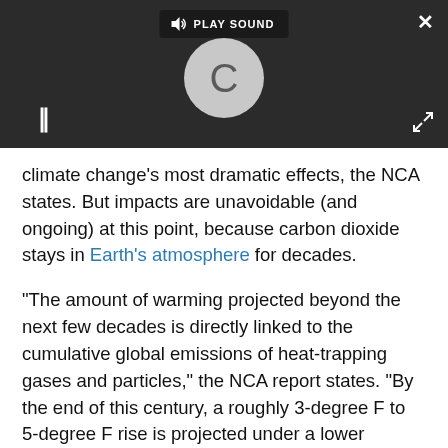[Figure (screenshot): A media player UI with dark background showing a loading spinner (letter C in a grey circle), a pause button (||), a PLAY SOUND button at the top, a close (×) button, and an expand button.]
climate change's most dramatic effects, the NCA states. But impacts are unavoidable (and ongoing) at this point, because carbon dioxide stays in Earth's atmosphere for decades.
"The amount of warming projected beyond the next few decades is directly linked to the cumulative global emissions of heat-trapping gases and particles," the NCA report states. "By the end of this century, a roughly 3-degree F to 5-degree F rise is projected under a lower emissions scenario, which would require substantial reductions in emissions (referred